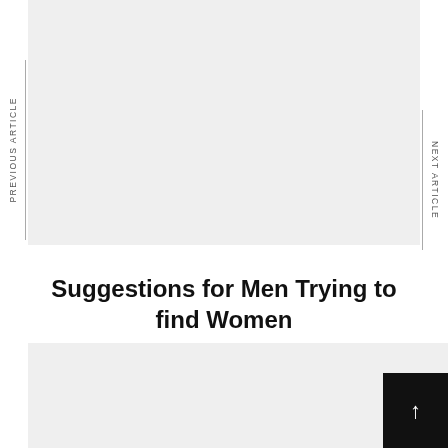[Figure (photo): Gray placeholder image area at the top of the page]
PREVIOUS ARTICLE
NEXT ARTICLE
Suggestions for Men Trying to find Women
[Figure (photo): Gray placeholder image area at the bottom of the page with a black scroll-to-top button in the bottom right corner containing an upward arrow]